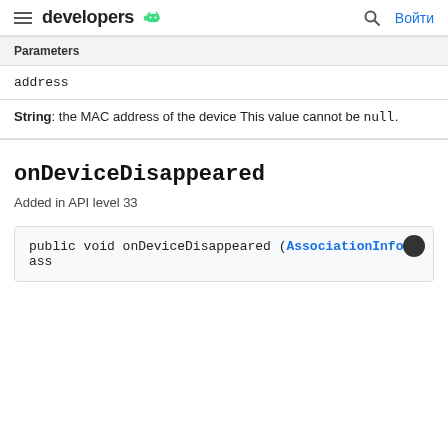developers | Войти
Parameters
address
String: the MAC address of the device This value cannot be null.
onDeviceDisappeared
Added in API level 33
public void onDeviceDisappeared (AssociationInfo ass